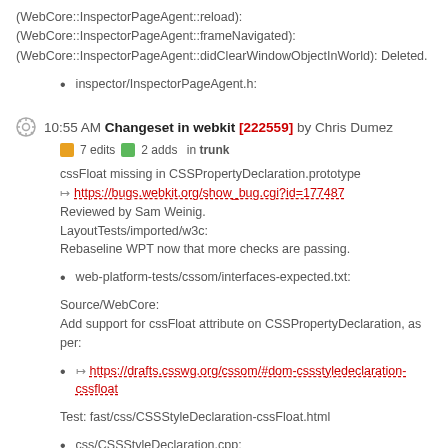(WebCore::InspectorPageAgent::reload):
(WebCore::InspectorPageAgent::frameNavigated):
(WebCore::InspectorPageAgent::didClearWindowObjectInWorld): Deleted.
inspector/InspectorPageAgent.h:
10:55 AM Changeset in webkit [222559] by Chris Dumez
7 edits  2 adds  in trunk
cssFloat missing in CSSPropertyDeclaration.prototype
https://bugs.webkit.org/show_bug.cgi?id=177487
Reviewed by Sam Weinig.
LayoutTests/imported/w3c:
Rebaseline WPT now that more checks are passing.
web-platform-tests/cssom/interfaces-expected.txt:
Source/WebCore:
Add support for cssFloat attribute on CSSPropertyDeclaration, as per:
https://drafts.csswg.org/cssom/#dom-cssstyledeclaration-cssfloat
Test: fast/css/CSSStyleDeclaration-cssFloat.html
css/CSSStyleDeclaration.cpp:
(WebCore::CSSStyleDeclaration::cssFloat):
(WebCore::CSSStyleDeclaration::setCssFloat):
css/CSSStyleDeclaration.h: